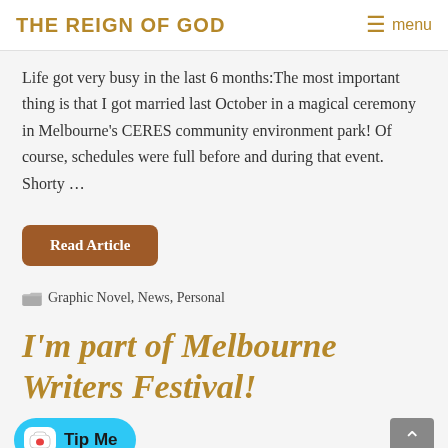THE REIGN OF GOD  ≡ menu
Life got very busy in the last 6 months:The most important thing is that I got married last October in a magical ceremony in Melbourne's CERES community environment park! Of course, schedules were full before and during that event. Shorty …
Read Article
Graphic Novel, News, Personal
I'm part of Melbourne Writers Festival!